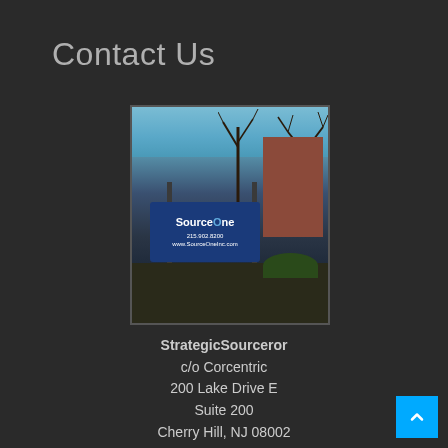Contact Us
[Figure (photo): Photo of Source One company sign outside a brick office building with bare trees in the background. Sign reads 'Source One 215.902.8200 www.SourceOneInc.com']
StrategicSourceror
c/o Corcentric
200 Lake Drive E
Suite 200
Cherry Hill, NJ 08002